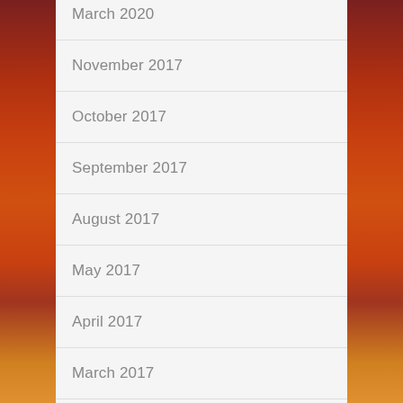March 2020
November 2017
October 2017
September 2017
August 2017
May 2017
April 2017
March 2017
February 2017
December 2016